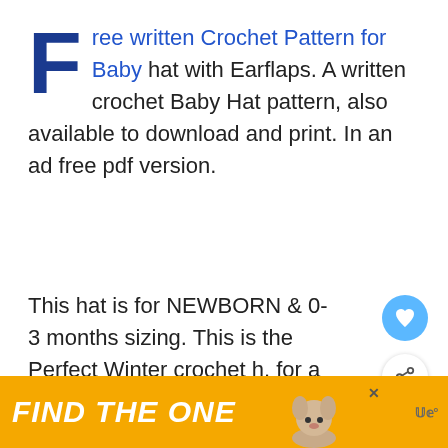Free written Crochet Pattern for Baby hat with Earflaps. A written crochet Baby Hat pattern, also available to download and print. In an ad free pdf version.
This hat is for NEWBORN & 0-3 months sizing. This is the Perfect Winter crochet hat for a Baby!
[Figure (other): Heart/like button (blue circle with heart icon) and share button (white circle with share icon)]
[Figure (other): What's Next widget showing a thumbnail image of a crochet baby hat and text 'WHAT'S NEXT -> Crochet Baby Ribbed Puff...']
T...
[Figure (other): Advertisement banner with yellow/orange background reading 'FIND THE ONE' with a dog image and close button]